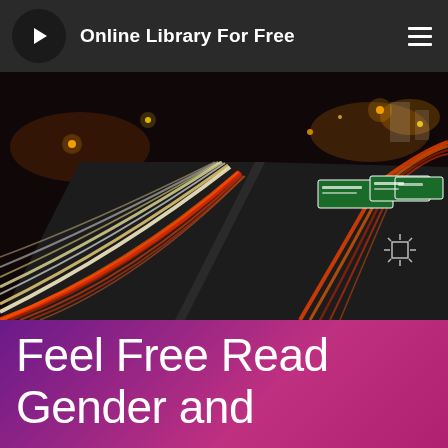Online Library For Free
[Figure (photo): Long-exposure night photograph of a multi-lane highway interchange with streaking car light trails in orange, red and white, green road signs visible in the background, taken from an elevated vantage point]
Feel Free Read Gender and